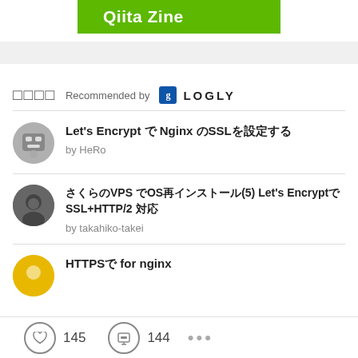[Figure (logo): Qiita Zine green banner logo]
□□□□  Recommended by  [g] LOGLY
Let's Encrypt で Nginx のSSLを設定する
by HeRo
さくらのVPS でOS再インストール(5) Let's EncryptでSSL+HTTP/2 対応
by takahiko-takei
HTTPSで for nginx
145  144  ...